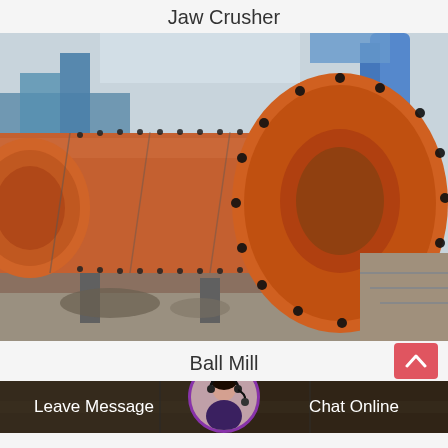Jaw Crusher
[Figure (photo): Large orange industrial ball mill machine with cylindrical drum and bolted flanges, photographed in an industrial/mining facility with blue structures in the background.]
Ball Mill
[Figure (photo): Partial view of another industrial machine (bottom preview strip).]
Leave Message   Chat Online